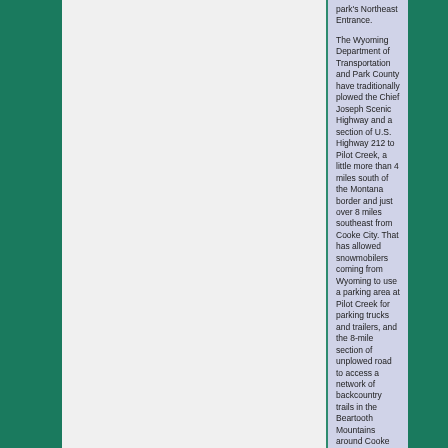park's Northeast Entrance.

The Wyoming Department of Transportation and Park County have traditionally plowed the Chief Joseph Scenic Highway and a section of U.S. Highway 212 to Pilot Creek, a little more than 4 miles south of the Montana border and just over 8 miles southeast from Cooke City. That has allowed snowmobilers coming from Wyoming to use a parking area at Pilot Creek for parking trucks and trailers, and the 8-mile section of unplowed road to access a network of backcountry trails in the Beartooth Mountains around Cooke City.